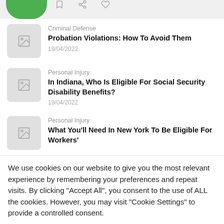[Figure (screenshot): Top navigation bar with green logo area and bookmark/share icons on grey background]
Criminal Defense
Probation Violations: How To Avoid Them
19/04/2022
Personal Injury
In Indiana, Who Is Eligible For Social Security Disability Benefits?
19/04/2022
Personal Injury
What You'll Need In New York To Be Eligible For Workers'
We use cookies on our website to give you the most relevant experience by remembering your preferences and repeat visits. By clicking "Accept All", you consent to the use of ALL the cookies. However, you may visit "Cookie Settings" to provide a controlled consent.
Cookie Settings | Accept All